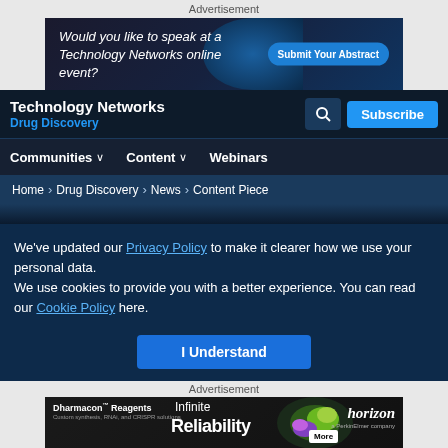Advertisement
[Figure (other): Technology Networks banner ad: Would you like to speak at a Technology Networks online event? Submit Your Abstract]
Technology Networks | Drug Discovery | Communities | Content | Webinars
Home > Drug Discovery > News > Content Piece
We've updated our Privacy Policy to make it clearer how we use your personal data.
We use cookies to provide you with a better experience. You can read our Cookie Policy here.
I Understand
Advertisement
[Figure (other): Dharmacon Reagents - Infinite Reliability - Horizon a PerkinElmer company - More button]